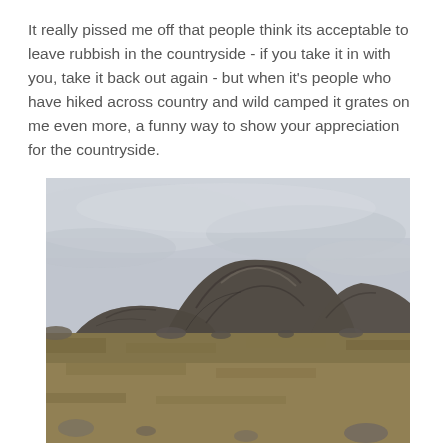It really pissed me off that people think its acceptable to leave rubbish in the countryside - if you take it in with you, take it back out again - but when it's people who have hiked across country and wild camped it grates on me even more, a funny way to show your appreciation for the countryside.
[Figure (photo): Outdoor countryside landscape photo showing rocky outcrops and hills under an overcast grey sky, with dry yellowed grass in the foreground and dark rock formations in the middle ground.]